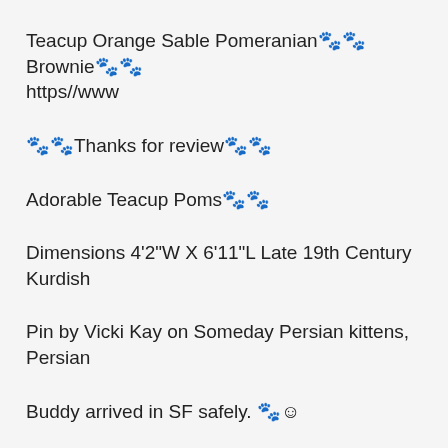Teacup Orange Sable Pomeranian🐾🐾Brownie🐾🐾 https//www
🐾🐾Thanks for review🐾🐾
Adorable Teacup Poms🐾🐾
Dimensions 4'2"W X 6'11"L Late 19th Century Kurdish
Pin by Vicki Kay on Someday Persian kittens, Persian
Buddy arrived in SF safely. 🐾😊